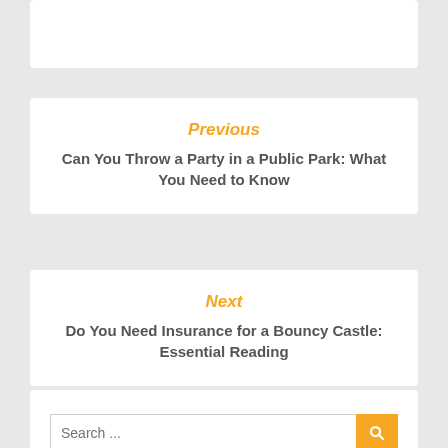Previous
Can You Throw a Party in a Public Park: What You Need to Know
Next
Do You Need Insurance for a Bouncy Castle: Essential Reading
Search ...